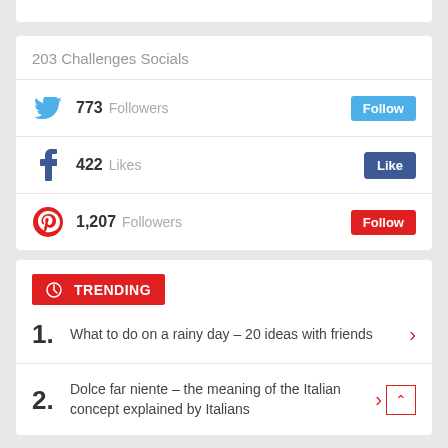203 Challenges Socials
773 Followers
422 Likes
1,207 Followers
TRENDING
1. What to do on a rainy day – 20 ideas with friends
2. Dolce far niente – the meaning of the Italian concept explained by Italians